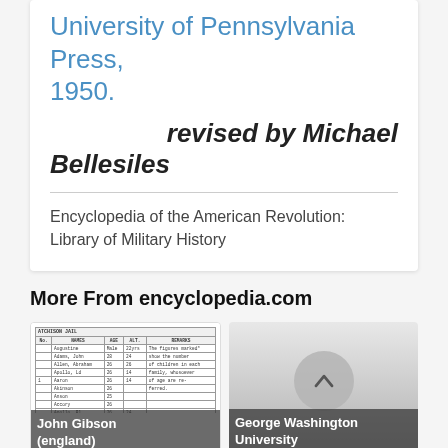University of Pennsylvania Press, 1950.
revised by Michael Bellesiles
Encyclopedia of the American Revolution: Library of Military History
More From encyclopedia.com
[Figure (table-as-image): Thumbnail image of a historical table document with rows and columns of names and data]
John Gibson (england)
[Figure (other): Grey thumbnail with a scroll-up arrow button, labeled George Washington University]
George Washington University